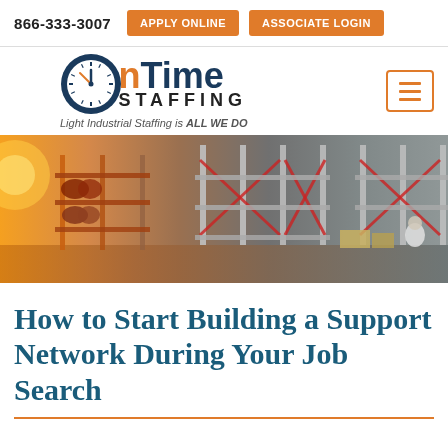866-333-3007  APPLY ONLINE  ASSOCIATE LOGIN
[Figure (logo): On Time Staffing logo with clock icon. 'On' in orange, 'Time' in dark blue, 'STAFFING' in black below, tagline: Light Industrial Staffing is ALL WE DO]
[Figure (photo): Warehouse interior with tall metal shelving racks loaded with goods, warm orange sunlight on left side, workers visible in background.]
How to Start Building a Support Network During Your Job Search